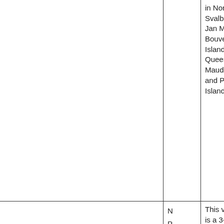|  |  | in Norway, Svalbard, Jan Mayen, Bouvet Island, Queen Maud Land, and Peter I Island. |
|  | N
P
R | This value is a 3-digit code for a Norwa... |